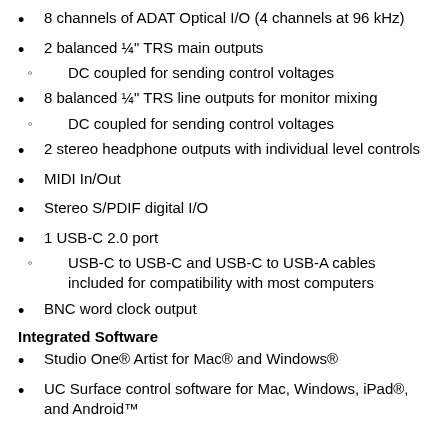8 channels of ADAT Optical I/O (4 channels at 96 kHz)
2 balanced ¼" TRS main outputs
DC coupled for sending control voltages
8 balanced ¼" TRS line outputs for monitor mixing
DC coupled for sending control voltages
2 stereo headphone outputs with individual level controls
MIDI In/Out
Stereo S/PDIF digital I/O
1 USB-C 2.0 port
USB-C to USB-C and USB-C to USB-A cables included for compatibility with most computers
BNC word clock output
Integrated Software
Studio One® Artist for Mac® and Windows®
UC Surface control software for Mac, Windows, iPad®, and Android™